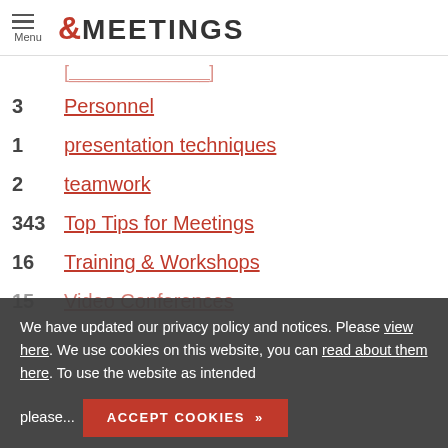Menu &MEETINGS
3  Personnel
1  presentation techniques
2  teamwork
343  Top Tips for Meetings
16  Training & Workshops
15  Video Conferences
We have updated our privacy policy and notices. Please view here. We use cookies on this website, you can read about them here. To use the website as intended please...
ACCEPT COOKIES »